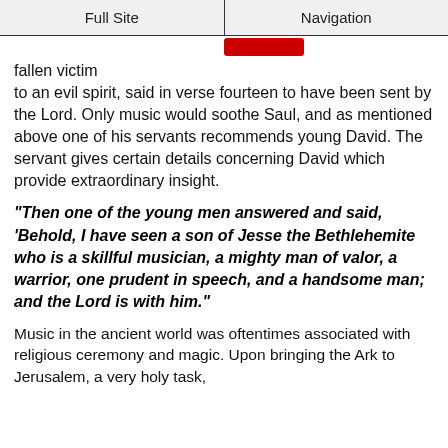Full Site | Navigation
fallen victim to an evil spirit, said in verse fourteen to have been sent by the Lord. Only music would soothe Saul, and as mentioned above one of his servants recommends young David. The servant gives certain details concerning David which provide extraordinary insight.
"Then one of the young men answered and said, 'Behold, I have seen a son of Jesse the Bethlehemite who is a skillful musician, a mighty man of valor, a warrior, one prudent in speech, and a handsome man; and the Lord is with him."
Music in the ancient world was oftentimes associated with religious ceremony and magic. Upon bringing the Ark to Jerusalem, a very holy task,